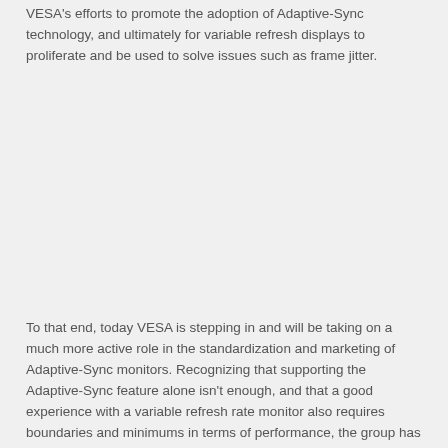VESA's efforts to promote the adoption of Adaptive-Sync technology, and ultimately for variable refresh displays to proliferate and be used to solve issues such as frame jitter.
To that end, today VESA is stepping in and will be taking on a much more active role in the standardization and marketing of Adaptive-Sync monitors. Recognizing that supporting the Adaptive-Sync feature alone isn't enough, and that a good experience with a variable refresh rate monitor also requires boundaries and minimums in terms of performance, the group has put together two